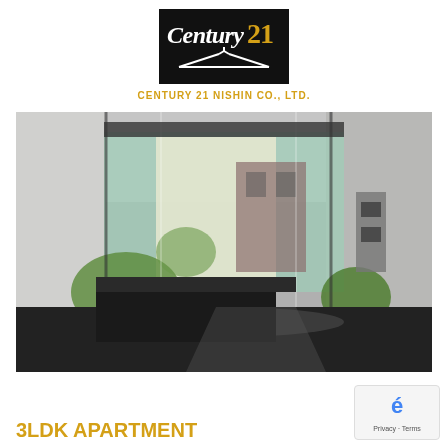[Figure (logo): Century 21 real estate logo in black box with gold 21]
CENTURY 21 NISHIN CO., LTD.
[Figure (photo): Interior lobby of an apartment building with glass walls, black granite floor, and garden view]
3LDK APARTMENT